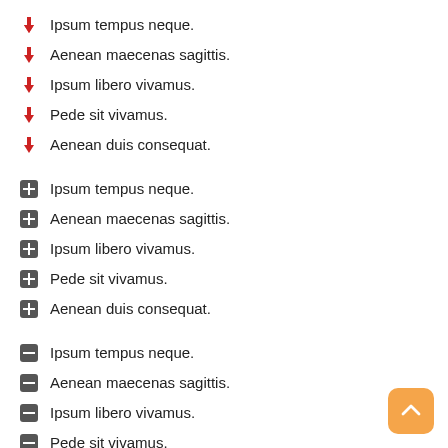Ipsum tempus neque.
Aenean maecenas sagittis.
Ipsum libero vivamus.
Pede sit vivamus.
Aenean duis consequat.
Ipsum tempus neque.
Aenean maecenas sagittis.
Ipsum libero vivamus.
Pede sit vivamus.
Aenean duis consequat.
Ipsum tempus neque.
Aenean maecenas sagittis.
Ipsum libero vivamus.
Pede sit vivamus.
Aenean duis consequat.